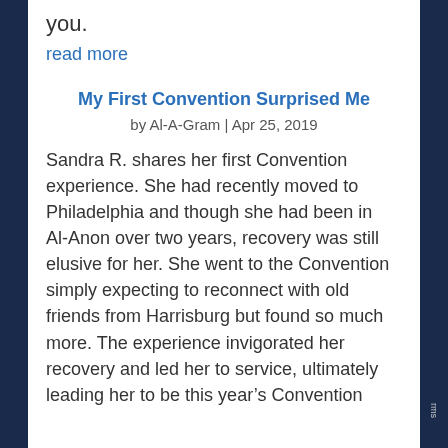you.
read more
My First Convention Surprised Me
by Al-A-Gram | Apr 25, 2019
Sandra R. shares her first Convention experience. She had recently moved to Philadelphia and though she had been in Al-Anon over two years, recovery was still elusive for her. She went to the Convention simply expecting to reconnect with old friends from Harrisburg but found so much more. The experience invigorated her recovery and led her to service, ultimately leading her to be this year's Convention